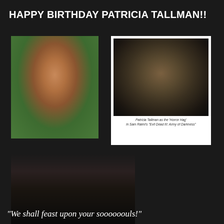HAPPY BIRTHDAY PATRICIA TALLMAN!!
[Figure (photo): Headshot of Patricia Tallman, a woman with red hair wearing a green top]
[Figure (photo): Polaroid-style photo of Patricia Tallman as the Horror Hag in Sam Raimi's Evil Dead III: Army of Darkness, depicting an aged hag character with white hair]
Patricia Tallman as the 'Horror Hag' in Sam Raimi's "Evil Dead III: Army of Darkness"
[Figure (photo): Movie still from Army of Darkness showing a scene with a man in a white shirt holding something]
"We shall feast upon your soooooouls!"